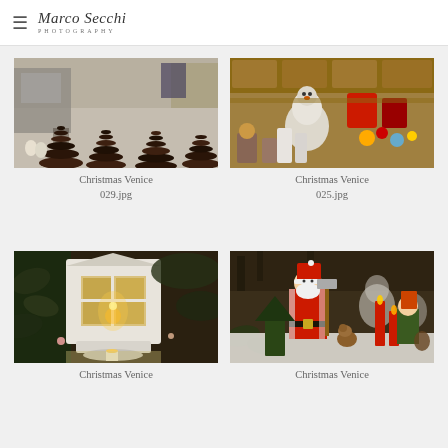Marco Secchi Photography
[Figure (photo): Christmas market display with chocolate pyramid towers arranged on a counter in Venice]
Christmas Venice
029.jpg
[Figure (photo): Christmas market stall with colorful ornaments, figurines and decorations crowded on shelves in Venice]
Christmas Venice
025.jpg
[Figure (photo): White decorative lantern with candle among Christmas greenery in Venice]
Christmas Venice
[Figure (photo): Santa Claus figurine with woodland animals and red candles among Christmas decorations in Venice]
Christmas Venice